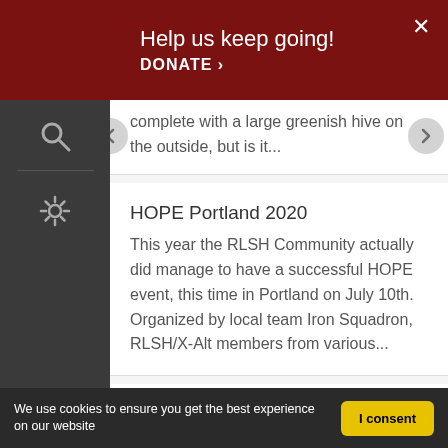Help us keep going! DONATE ›
complete with a large greenish hive on the outside, but is it...
HOPE Portland 2020
This year the RLSH Community actually did manage to have a successful HOPE event, this time in Portland on July 10th. Organized by local team Iron Squadron, RLSH/X-Alt members from various...
Atrocity Guide's video on Phoenix Jones - A Response from Dark Defender
The Video:I want to clarify a number of things... A lot of us in the RLSH community were out long before Phoenix Jones was associated to his...
We use cookies to ensure you get the best experience on our website   I consent